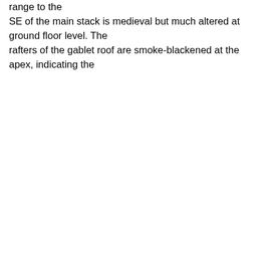range to the SE of the main stack is medieval but much altered at ground floor level. The rafters of the gablet roof are smoke-blackened at the apex, indicating the